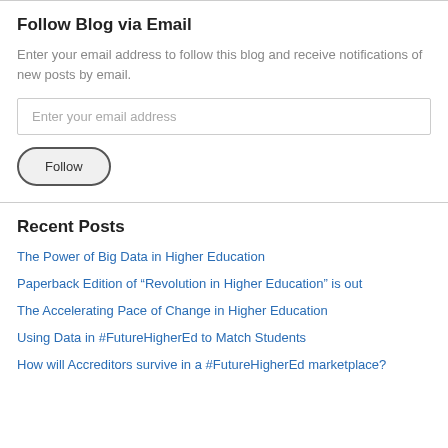Follow Blog via Email
Enter your email address to follow this blog and receive notifications of new posts by email.
[Figure (screenshot): Email input field with placeholder text 'Enter your email address']
[Figure (screenshot): Follow button with rounded pill shape]
Recent Posts
The Power of Big Data in Higher Education
Paperback Edition of “Revolution in Higher Education” is out
The Accelerating Pace of Change in Higher Education
Using Data in #FutureHigherEd to Match Students
How will Accreditors survive in a #FutureHigherEd marketplace?